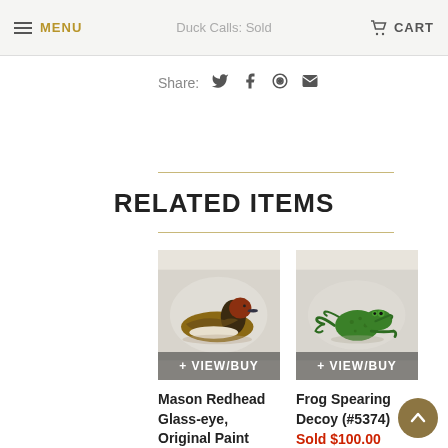MENU | Duck Calls: Sold | CART
Share:
RELATED ITEMS
[Figure (photo): Mason Redhead duck decoy with glass eyes and original paint on grey background, with + VIEW/BUY overlay button]
Mason Redhead Glass-eye, Original Paint (#6518)
[Figure (photo): Green frog spearing decoy on beige background, with + VIEW/BUY overlay button]
Frog Spearing Decoy (#5374)
Sold $100.00